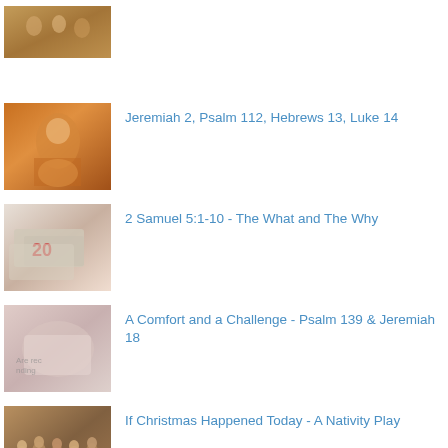[Figure (photo): Partial view of a religious or historical illustration at top, cropped]
Jeremiah 2, Psalm 112, Hebrews 13, Luke 14
2 Samuel 5:1-10 - The What and The Why
A Comfort and a Challenge - Psalm 139 & Jeremiah 18
If Christmas Happened Today - A Nativity Play